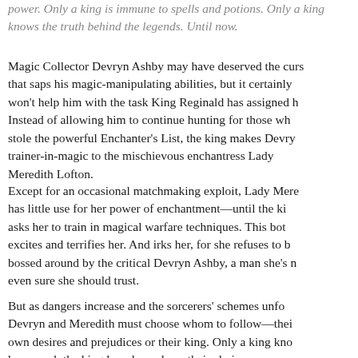power. Only a king is immune to spells and potions. Only a king knows the truth behind the legends. Until now.
Magic Collector Devryn Ashby may have deserved the curse that saps his magic-manipulating abilities, but it certainly won't help him with the task King Reginald has assigned him. Instead of allowing him to continue hunting for those who stole the powerful Enchanter's List, the king makes Devryn trainer-in-magic to the mischievous enchantress Lady Meredith Lofton.
Except for an occasional matchmaking exploit, Lady Meredith has little use for her power of enchantment—until the king asks her to train in magical warfare techniques. This both excites and terrifies her. And irks her, for she refuses to be bossed around by the critical Devryn Ashby, a man she's not even sure she should trust.
But as dangers increase and the sorcerers' schemes unfold, Devryn and Meredith must choose whom to follow—their own desires and prejudices or their king. Only a king knows how much the kingdom depends on their choice.